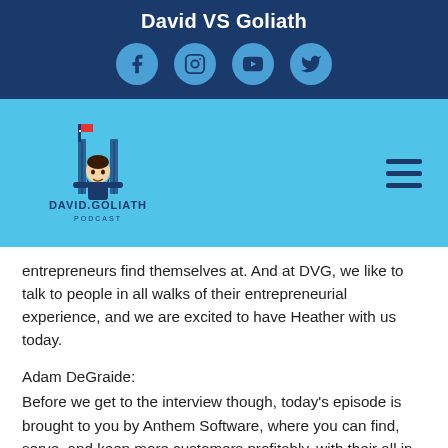David VS Goliath
[Figure (logo): Social media icons: Facebook, Instagram, YouTube, Twitter in circular light blue buttons on dark blue background]
[Figure (logo): David VS Goliath Podcast logo with cartoon character on light blue background with hamburger menu icon]
entrepreneurs find themselves at. And at DVG, we like to talk to people in all walks of their entrepreneurial experience, and we are excited to have Heather with us today.
Adam DeGraide:
Before we get to the interview though, today's episode is brought to you by Anthem Software, where you can find, serve, and keep more customers profitably, with their all in one CRM software, marketing services and consulting platform built specifically for small business. Take the 120